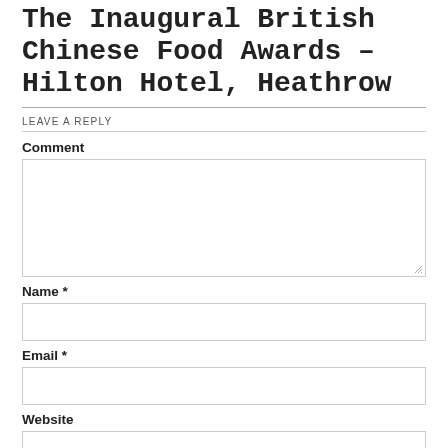The Inaugural British Chinese Food Awards – Hilton Hotel, Heathrow
LEAVE A REPLY
Comment
Name *
Email *
Website